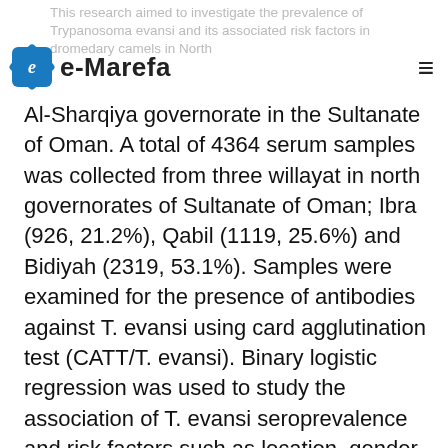This research aimed to investigate the prevalence of Trypanosoma evansi and its associated risk factors in dromedary camels in North
Al-Sharqiya governorate in the Sultanate of Oman. A total of 4364 serum samples was collected from three willayat in north governorates of Sultanate of Oman; Ibra (926, 21.2%), Qabil (1119, 25.6%) and Bidiyah (2319, 53.1%). Samples were examined for the presence of antibodies against T. evansi using card agglutination test (CATT/T. evansi). Binary logistic regression was used to study the association of T. evansi seroprevalence and risk factors such as location, gender, purpose and age of camels. The overall seroprevalence of T.